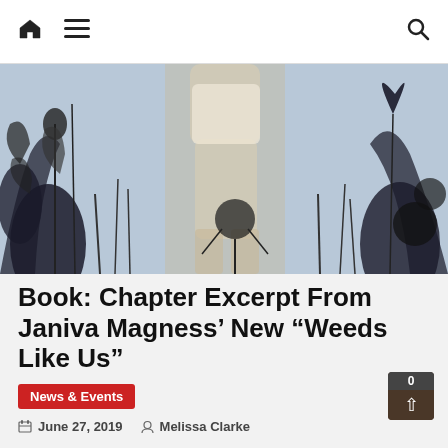Home | Menu | Search
[Figure (photo): A person standing among botanical/floral illustrations, black and white with sepia tones, surreal garden scene]
Book: Chapter Excerpt From Janiva Magness’ New “Weeds Like Us”
News & Events
June 27, 2019   Melissa Clarke
Janiva Magness, who has been nominated 28 times at the Blues Music Awards, has an autobiography hot off the presses this week.